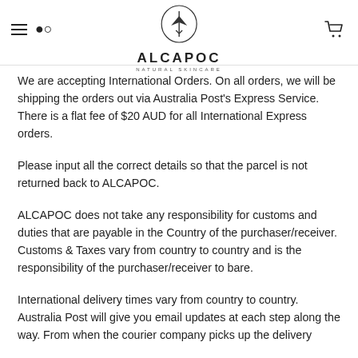ALCAPOC NATURAL SKINCARE
We are accepting International Orders. On all orders, we will be shipping the orders out via Australia Post's Express Service. There is a flat fee of $20 AUD for all International Express orders.
Please input all the correct details so that the parcel is not returned back to ALCAPOC.
ALCAPOC does not take any responsibility for customs and duties that are payable in the Country of the purchaser/receiver. Customs & Taxes vary from country to country and is the responsibility of the purchaser/receiver to bare.
International delivery times vary from country to country. Australia Post will give you email updates at each step along the way. From when the courier company picks up the delivery...